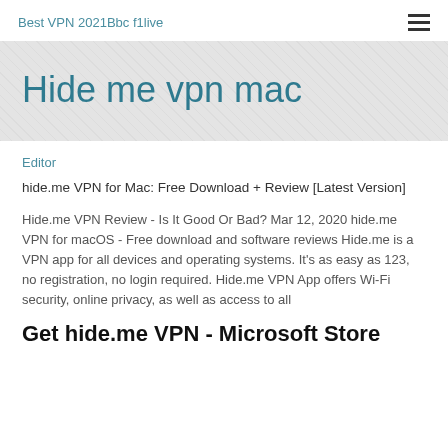Best VPN 2021Bbc f1live
Hide me vpn mac
Editor
hide.me VPN for Mac: Free Download + Review [Latest Version]
Hide.me VPN Review - Is It Good Or Bad? Mar 12, 2020 hide.me VPN for macOS - Free download and software reviews Hide.me is a VPN app for all devices and operating systems. It's as easy as 123, no registration, no login required. Hide.me VPN App offers Wi-Fi security, online privacy, as well as access to all
Get hide.me VPN - Microsoft Store